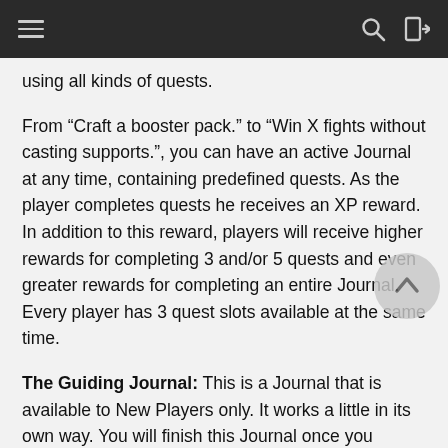using all kinds of quests.
From “Craft a booster pack.” to “Win X fights without casting supports.”, you can have an active Journal at any time, containing predefined quests. As the player completes quests he receives an XP reward. In addition to this reward, players will receive higher rewards for completing 3 and/or 5 quests and even greater rewards for completing an entire Journal. Every player has 3 quest slots available at the same time.
The Guiding Journal: This is a Journal that is available to New Players only. It works a little in its own way. You will finish this Journal once you complete all of its quests. You will receive new quests automatically whenever you complete a quest, without timers. The Guiding Journal will not allow you